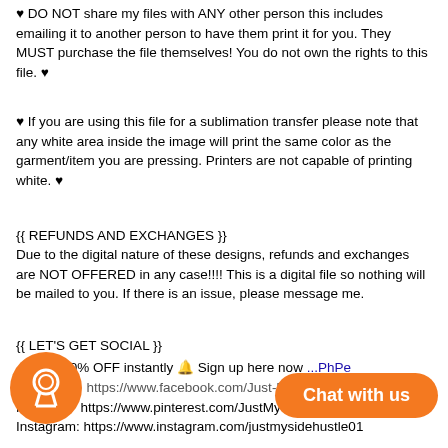♥ DO NOT share my files with ANY other person this includes emailing it to another person to have them print it for you. They MUST purchase the file themselves! You do not own the rights to this file. ♥
♥ If you are using this file for a sublimation transfer please note that any white area inside the image will print the same color as the garment/item you are pressing. Printers are not capable of printing white. ♥
{{ REFUNDS AND EXCHANGES }}
Due to the digital nature of these designs, refunds and exchanges are NOT OFFERED in any case!!!! This is a digital file so nothing will be mailed to you. If there is an issue, please message me.
{{ LET'S GET SOCIAL }}
🔔 Get 20% OFF instantly 🔔 Sign up here now https://...PhPe
Facebook: https://www.facebook.com/Just-M...
Pinterest: https://www.pinterest.com/JustMySideHustle
Instagram: https://www.instagram.com/justmysidehustle01